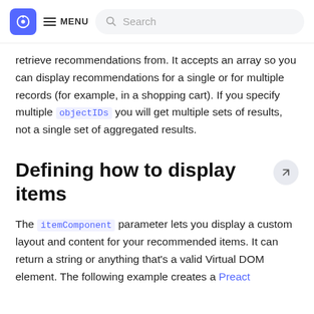MENU  Search
retrieve recommendations from. It accepts an array so you can display recommendations for a single or for multiple records (for example, in a shopping cart). If you specify multiple objectIDs you will get multiple sets of results, not a single set of aggregated results.
Defining how to display items
The itemComponent parameter lets you display a custom layout and content for your recommended items. It can return a string or anything that's a valid Virtual DOM element. The following example creates a Preact